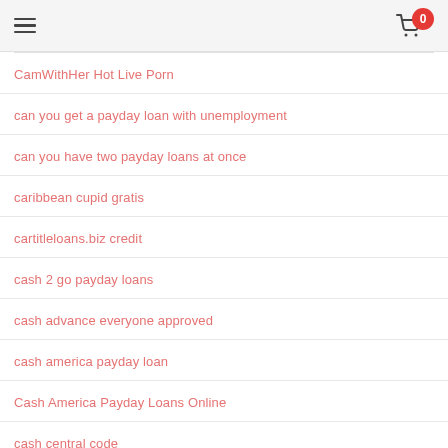Navigation header with hamburger menu and shopping cart (0 items)
CamWithHer Hot Live Porn
can you get a payday loan with unemployment
can you have two payday loans at once
caribbean cupid gratis
cartitleloans.biz credit
cash 2 go payday loans
cash advance everyone approved
cash america payday loan
Cash America Payday Loans Online
cash central code